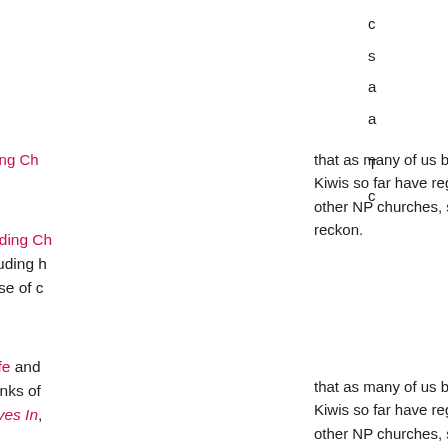that as many of us begin the E100 Bible Reading Ch... Kiwis so far have registered to take part, including h... other NP churches, so there'll be a great sense of c... reckon.
The Kiwi branches of Scripture Union, Wycliffe and ... banded together to select 100 'Essential' chunks of ... focus last year on The Story We Find Ourselves In, ... an overview of the Big Story of God-and-us.
Radio Rhema is airing daily reflections on the texts, which are being published on the E100 blog and on... E100 facebook page.